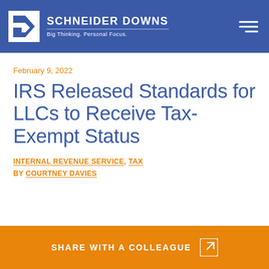SCHNEIDER DOWNS — Big Thinking. Personal Focus.
February 9, 2022
IRS Released Standards for LLCs to Receive Tax-Exempt Status
INTERNAL REVENUE SERVICE, TAX — BY COURTNEY DAVIES
SHARE WITH A COLLEAGUE